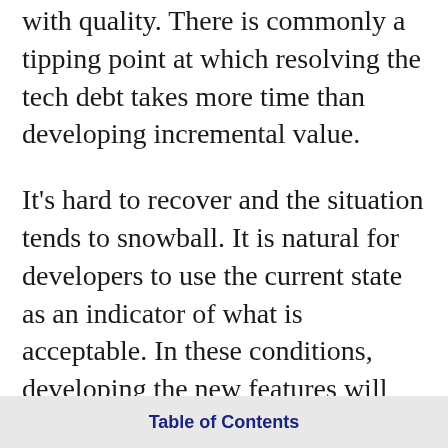with quality. There is commonly a tipping point at which resolving the tech debt takes more time than developing incremental value.
It's hard to recover and the situation tends to snowball. It is natural for developers to use the current state as an indicator of what is acceptable. In these conditions, developing the new features will result in even more debt. This is the slippery slope, a vicious cycle that unfortunately leads to a cliff as the effort to implement the next feature increases non-linearly.
Table of Contents